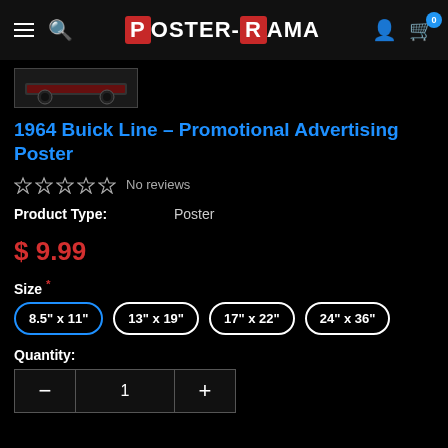Poster-Rama — navigation header with hamburger menu, search, logo, user icon, and cart (0)
[Figure (photo): Small thumbnail image of the 1964 Buick Line promotional advertising poster showing a dark car on grey background]
1964 Buick Line – Promotional Advertising Poster
☆☆☆☆☆  No reviews
Product Type:    Poster
$ 9.99
Size *
8.5" x 11"  13" x 19"  17" x 22"  24" x 36"
Quantity:
— 1 +